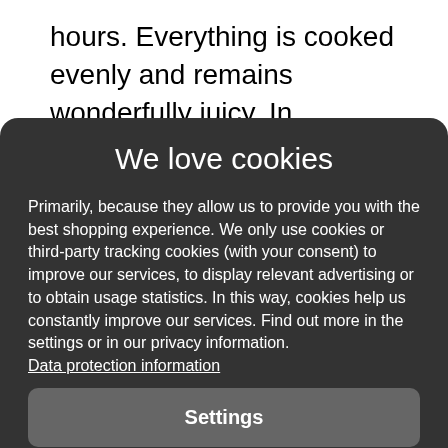hours. Everything is cooked evenly and remains wonderfully juicy. In contrast to the plastic bags usually used for this purpose, Stasher does not emit harmful
We love cookies
Primarily, because they allow us to provide you with the best shopping experience. We only use cookies or third-party tracking cookies (with your consent) to improve our services, to display relevant advertising or to obtain usage statistics. In this way, cookies help us constantly improve our services. Find out more in the settings or in our privacy information. Data protection information
Settings
Reject all
Accept all